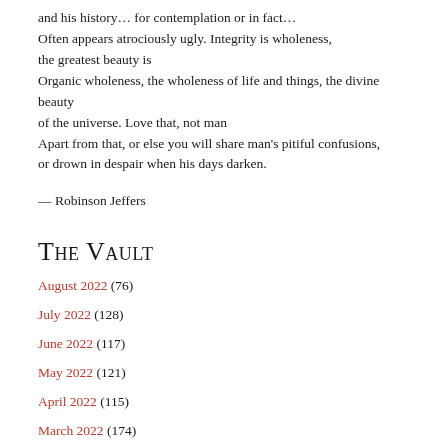and his history… for contemplation or in fact…
Often appears atrociously ugly. Integrity is wholeness,
the greatest beauty is
Organic wholeness, the wholeness of life and things, the divine beauty
of the universe. Love that, not man
Apart from that, or else you will share man's pitiful confusions,
or drown in despair when his days darken.
— Robinson Jeffers
The Vault
August 2022 (76)
July 2022 (128)
June 2022 (117)
May 2022 (121)
April 2022 (115)
March 2022 (174)